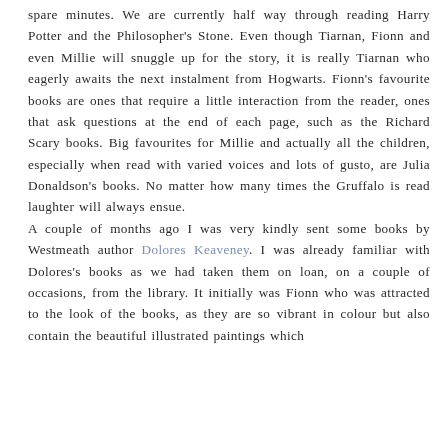spare minutes. We are currently half way through reading Harry Potter and the Philosopher's Stone. Even though Tiarnan, Fionn and even Millie will snuggle up for the story, it is really Tiarnan who eagerly awaits the next instalment from Hogwarts. Fionn's favourite books are ones that require a little interaction from the reader, ones that ask questions at the end of each page, such as the Richard Scary books. Big favourites for Millie and actually all the children, especially when read with varied voices and lots of gusto, are Julia Donaldson's books. No matter how many times the Gruffalo is read laughter will always ensue.
A couple of months ago I was very kindly sent some books by Westmeath author Dolores Keaveney. I was already familiar with Dolores's books as we had taken them on loan, on a couple of occasions, from the library. It initially was Fionn who was attracted to the look of the books, as they are so vibrant in colour but also contain the beautiful illustrated paintings which